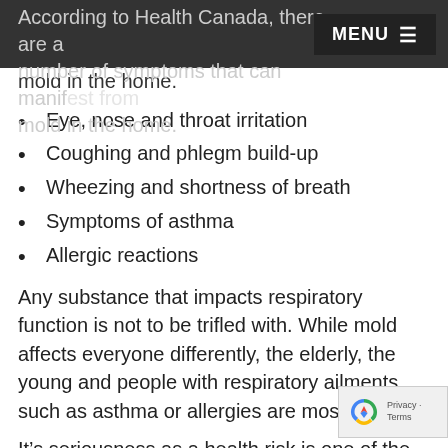MENU
According to Health Canada, there are a number of symptoms that can manifest from mold in the home.
Eye, nose and throat irritation
Coughing and phlegm build-up
Wheezing and shortness of breath
Symptoms of asthma
Allergic reactions
Any substance that impacts respiratory function is not to be trifled with. While mold affects everyone differently, the elderly, the young and people with respiratory ailments such as asthma or allergies are most at risk.
It's seriousness as a health risk is one of the reasons we work to spread awareness about mold. But moisture and mold in the home